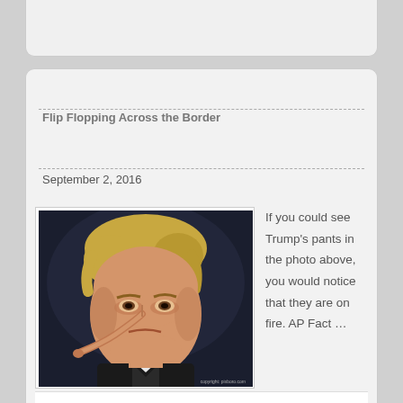Flip Flopping Across the Border
September 2, 2016
[Figure (photo): Edited photo of Donald Trump with a Pinocchio-style long nose, wearing a dark suit, on a dark background. Text 'copyright: pixboro.com' in lower right.]
If you could see Trump's pants in the photo above, you would notice that they are on fire. AP Fact …
Continue reading